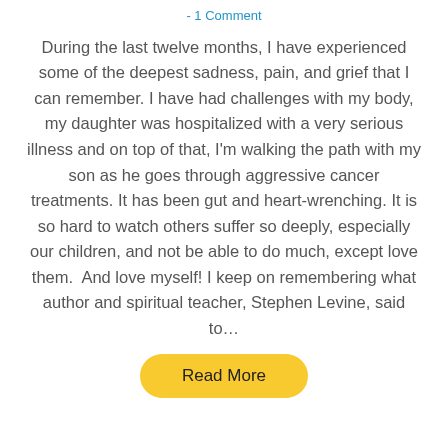- 1 Comment
During the last twelve months, I have experienced some of the deepest sadness, pain, and grief that I can remember. I have had challenges with my body, my daughter was hospitalized with a very serious illness and on top of that, I'm walking the path with my son as he goes through aggressive cancer treatments. It has been gut and heart-wrenching. It is so hard to watch others suffer so deeply, especially our children, and not be able to do much, except love them.  And love myself! I keep on remembering what author and spiritual teacher, Stephen Levine, said to…
Read More